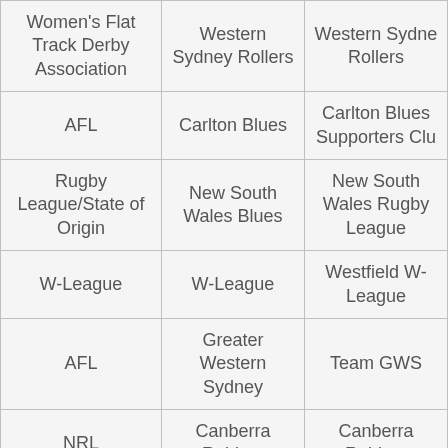| Women's Flat Track Derby Association | Western Sydney Rollers | Western Sydney Rollers |
| AFL | Carlton Blues | Carlton Blues Supporters Clu |
| Rugby League/State of Origin | New South Wales Blues | New South Wales Rugby League |
| W-League | W-League | Westfield W-League |
| AFL | Greater Western Sydney | Team GWS |
| NRL | Canberra Raiders | Canberra Raiders |
| NRL | Melbourne Storm | Support the Melbourne Storm this Sunday Night |